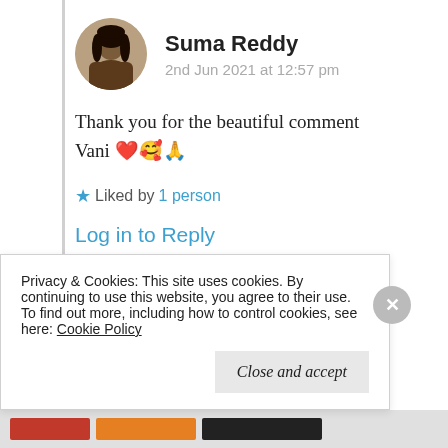Suma Reddy
2nd Jun 2021 at 12:57 pm
Thank you for the beautiful comment Vani ❤️🥰🙏
★ Liked by 1 person
Log in to Reply
Privacy & Cookies: This site uses cookies. By continuing to use this website, you agree to their use.
To find out more, including how to control cookies, see here: Cookie Policy
Close and accept